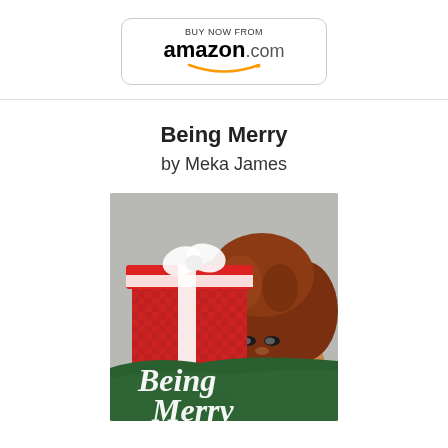[Figure (logo): Buy Now From amazon.com button with Amazon smile logo, rounded rectangle border]
Being Merry
by Meka James
[Figure (photo): Book cover of 'Being Merry' by Meka James: a smiling woman with curly red-brown hair holds a red checkered gift box with a white ribbon bow. The bottom of the cover shows 'Being Merry' in white script text over a dark green brushstroke background.]